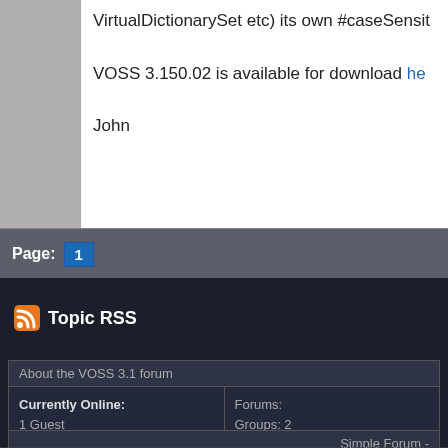VirtualDictionarySet etc) its own #caseSensit
VOSS 3.150.02 is available for download he
John
Page: 1
Topic RSS
| About the VOSS 3.1 forum |
| --- |
| Currently Online:
1 Guest
Maximum Online: 56 | Forums:
Groups: 2
Forums: 8
Topics: 19
Posts: 21 |
Simple Forum -